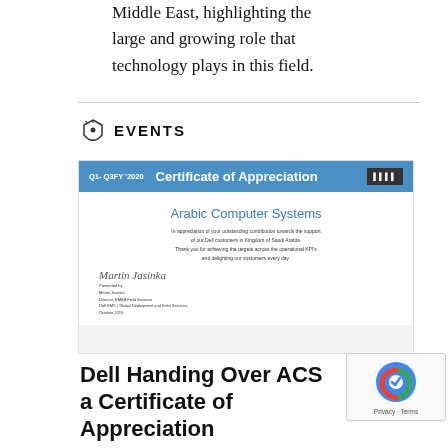Middle East, highlighting the large and growing role that technology plays in this field.
EVENTS
[Figure (photo): Certificate of Appreciation from Dell (Q1-Q3FY 2020) awarded to Arabic Computer Systems for outstanding contribution towards support of Dell customers in Kingdom of Saudi Arabia.]
Dell Handing Over ACS a Certificate of Appreciation